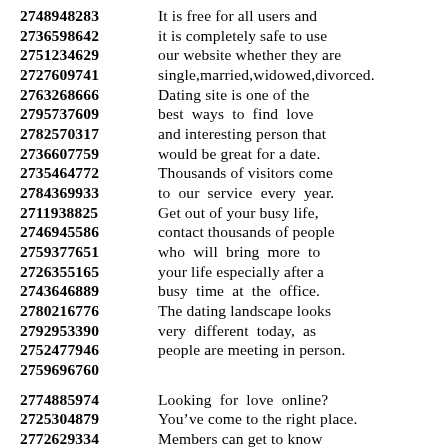2748948283 It is free for all users and
2736598642 it is completely safe to use
2751234629 our website whether they are
2727609741 single,married,widowed,divorced.
2763268666 Dating site is one of the
2795737609 best ways to find love
2782570317 and interesting person that
2736607759 would be great for a date.
2735464772 Thousands of visitors come
2784369933 to our service every year.
2711938825 Get out of your busy life,
2746945586 contact thousands of people
2759377651 who will bring more to
2726355165 your life especially after a
2743646889 busy time at the office.
2780216776 The dating landscape looks
2792953390 very different today, as
2752477946 people are meeting in person.
2759696760
2774885974 Looking for love online?
2725304879 You’ve come to the right place.
2772629334 Members can get to know
2776990531 each other with respect
2731178425 with online dating apps.
2787663189 It’s quick and easy to join